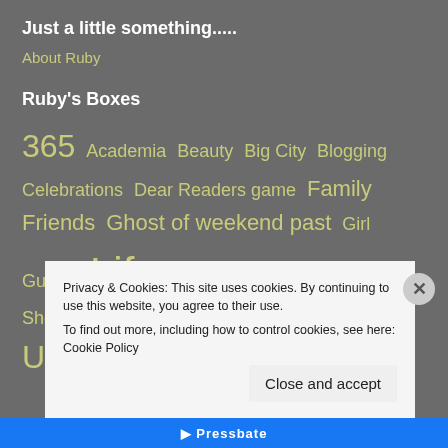Just a little something.....
About Ruby
Ruby's Boxes
365  Academia  Beauty  Big City  Blogging  Celebrations  Dear Readers game  Family  Friends  Ghost of weekend past  Girl Guides  Life  Love  Rants  Ruby's Secrets  Shoes  South Africa  Travel  Uncategorized
Privacy & Cookies: This site uses cookies. By continuing to use this website, you agree to their use.
To find out more, including how to control cookies, see here: Cookie Policy
Close and accept